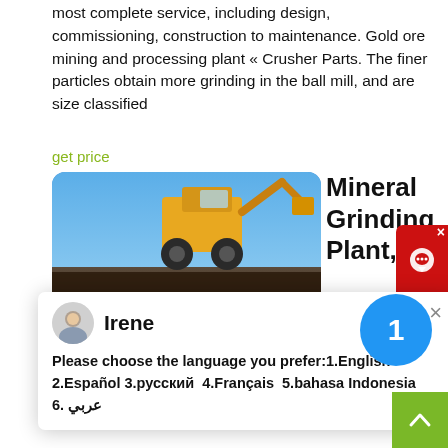most complete service, including design, commissioning, construction to maintenance. Gold ore mining and processing plant « Crusher Parts. The finer particles obtain more grinding in the ball mill, and are size classified
get price
[Figure (photo): Mining equipment (yellow heavy machinery) against blue sky, partially visible, in a rounded rectangle frame]
Mineral Grinding Plant,Grinding
[Figure (screenshot): Chat popup with agent Irene. Message: Please choose the language you prefer:1.English 2.Español 3.русский 4.Français 5.bahasa Indonesia 6. عربي with X close button]
grinding mills include VM Vertical gr mill, MTW European grinding mill, T130X Super fine grinding mill, HGM Micro powder grinding mill, TGM Trapezium grinding mill, Hammer mill and Ball mill, which can be used for Processing Limestone, Quartz, Calcite, Gypsum, Dolomite, Barite, Talc, Coal, Calcium Carbonate, Slag, Iron Ore, Gold Ore, etc.
get price